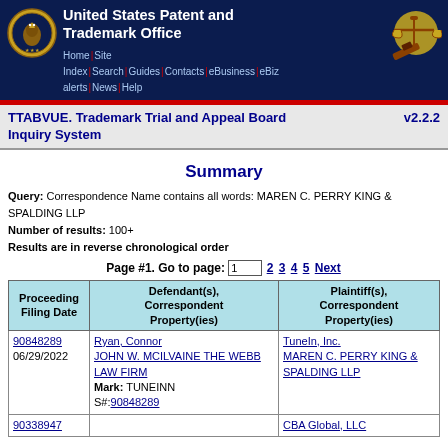United States Patent and Trademark Office
TTABVUE. Trademark Trial and Appeal Board Inquiry System v2.2.2
Summary
Query: Correspondence Name contains all words: MAREN C. PERRY KING & SPALDING LLP
Number of results: 100+
Results are in reverse chronological order
Page #1. Go to page: 1  2 3 4 5 Next
| Proceeding Filing Date | Defendant(s), Correspondent Property(ies) | Plaintiff(s), Correspondent Property(ies) |
| --- | --- | --- |
| 90848289
06/29/2022 | Ryan, Connor
JOHN W. MCILVAINE THE WEBB LAW FIRM
Mark: TUNEINN
S#:90848289 | TuneIn, Inc.
MAREN C. PERRY KING & SPALDING LLP |
| 90338947 |  | CBA Global, LLC |